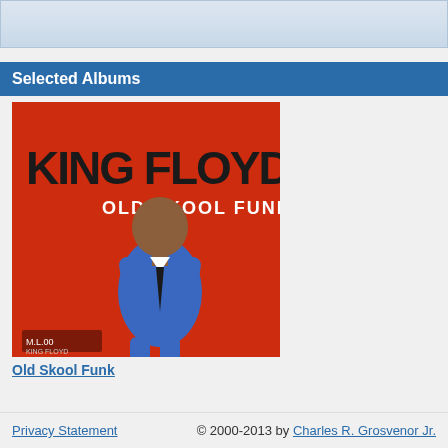[Figure (other): Decorative top bar with light blue gradient]
Selected Albums
[Figure (photo): Album cover for King Floyd - Old Skool Funk. Red background with man in blue suit and bold text reading KING FLOYD OLD SKOOL FUNK]
Old Skool Funk
Privacy Statement   © 2000-2013 by Charles R. Grosvenor Jr.